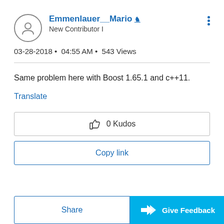Emmenlauer__Mario [badge] New Contributor I
03-28-2018 • 04:55 AM • 543 Views
Same problem here with Boost 1.65.1 and c++11.
Translate
0 Kudos
Copy link
Share
Give Feedback